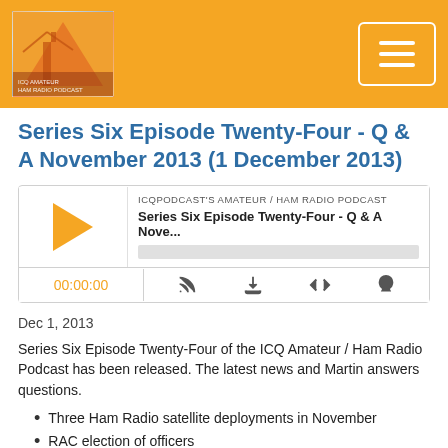ICQ Podcast - Amateur / Ham Radio Podcast
Series Six Episode Twenty-Four - Q & A November 2013 (1 December 2013)
[Figure (other): Podcast audio player widget showing play button, episode title 'Series Six Episode Twenty-Four - Q & A Nove...', podcast name 'ICQPODCAST'S AMATEUR / HAM RADIO PODCAST', progress bar, time display '00:00:00', and control icons for RSS feed, download, embed code, and share]
Dec 1, 2013
Series Six Episode Twenty-Four of the ICQ Amateur / Ham Radio Podcast has been released. The latest news and Martin answers questions.
Three Ham Radio satellite deployments in November
RAC election of officers
Southeastern Division election results
2014 Bath Buildathon
ARRL files 'Symbol Rate' petition with FCC